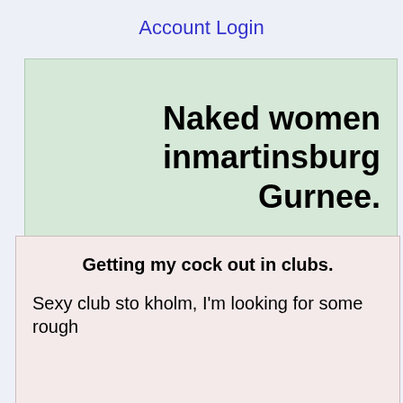Account Login
Naked women inmartinsburg Gurnee.
Getting my cock out in clubs.
Sexy club sto kholm, I'm looking for some rough